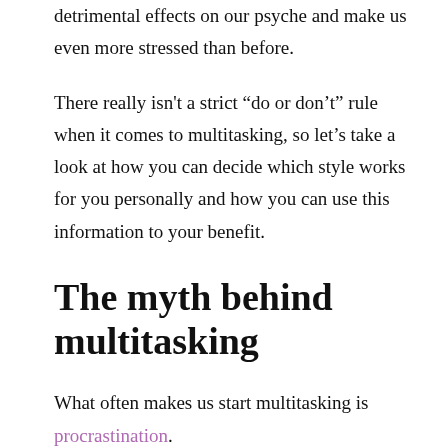detrimental effects on our psyche and make us even more stressed than before.
There really isn't a strict “do or don’t” rule when it comes to multitasking, so let’s take a look at how you can decide which style works for you personally and how you can use this information to your benefit.
The myth behind multitasking
What often makes us start multitasking is procrastination.